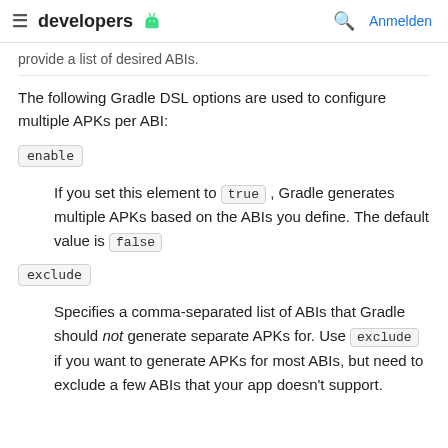≡  developers  🤖    🔍  Anmelden
provide a list of desired ABIs.
The following Gradle DSL options are used to configure multiple APKs per ABI:
enable
If you set this element to true , Gradle generates multiple APKs based on the ABIs you define. The default value is false
exclude
Specifies a comma-separated list of ABIs that Gradle should not generate separate APKs for. Use exclude if you want to generate APKs for most ABIs, but need to exclude a few ABIs that your app doesn't support.